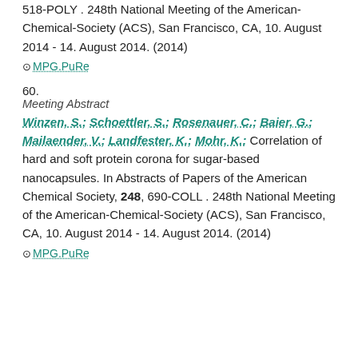518-POLY . 248th National Meeting of the American-Chemical-Society (ACS), San Francisco, CA, 10. August 2014 - 14. August 2014. (2014)
⊙ MPG.PuRe
60.
Meeting Abstract
Winzen, S.; Schoettler, S.; Rosenauer, C.; Baier, G.; Mailaender, V.; Landfester, K.; Mohr, K.: Correlation of hard and soft protein corona for sugar-based nanocapsules. In Abstracts of Papers of the American Chemical Society, 248, 690-COLL . 248th National Meeting of the American-Chemical-Society (ACS), San Francisco, CA, 10. August 2014 - 14. August 2014. (2014)
⊙ MPG.PuRe